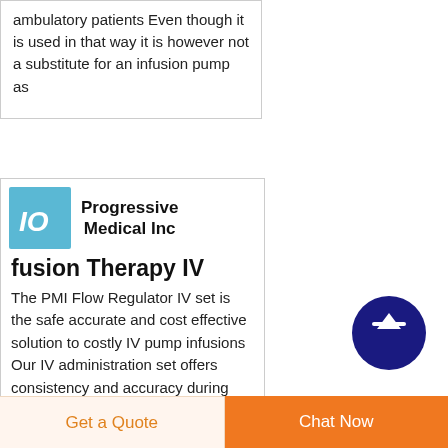ambulatory patients Even though it is used in that way it is however not a substitute for an infusion pump as
[Figure (logo): Blue square logo with white text 'IO' in italic bold font]
Progressive Medical Inc
fusion Therapy IV
The PMI Flow Regulator IV set is the safe accurate and cost effective solution to costly IV pump infusions Our IV administration set offers consistency and accuracy during gravity fed delivery of medications Designed with a
[Figure (illustration): Dark blue circle with white upward arrow icon - scroll to top button]
Get a Quote
Chat Now